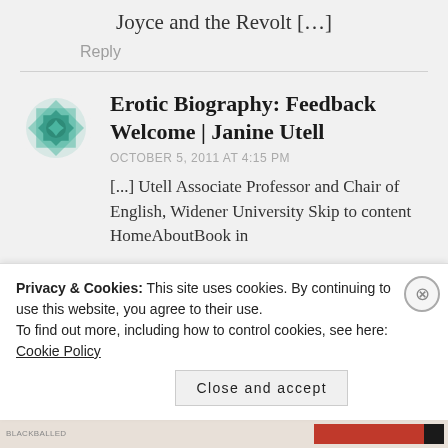Joyce and the Revolt [...]
Reply
Erotic Biography: Feedback Welcome | Janine Utell
OCTOBER 5, 2011 AT 4:15 PM
[...] Utell Associate Professor and Chair of English, Widener University Skip to content HomeAboutBook in
Privacy & Cookies: This site uses cookies. By continuing to use this website, you agree to their use. To find out more, including how to control cookies, see here: Cookie Policy
Close and accept